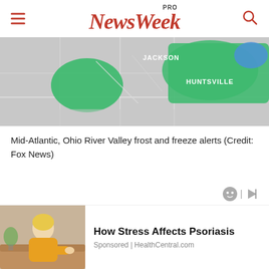NewsWeek PRO
[Figure (map): Weather map showing Mid-Atlantic and Ohio River Valley frost and freeze alerts in green, with city labels JACKSON and HUNTSVILLE visible. Gray background with highlighted green alert regions and a small blue region.]
Mid-Atlantic, Ohio River Valley frost and freeze alerts (Credit: Fox News)
[Figure (photo): Woman in yellow sweater looking at her arm, sponsored advertisement image for HealthCentral.com article about How Stress Affects Psoriasis]
How Stress Affects Psoriasis
Sponsored | HealthCentral.com